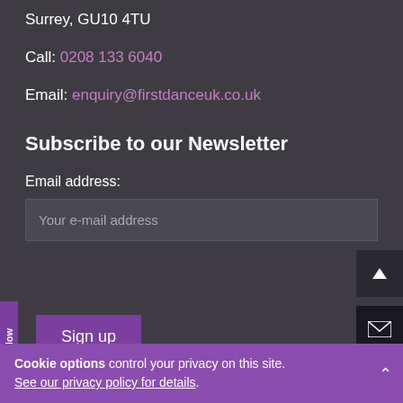Surrey, GU10 4TU
Call: 0208 133 6040
Email: enquiry@firstdanceuk.co.uk
Subscribe to our Newsletter
Email address:
Your e-mail address
Sign up
Online Now
Cookie options control your privacy on this site. See our privacy policy for details.